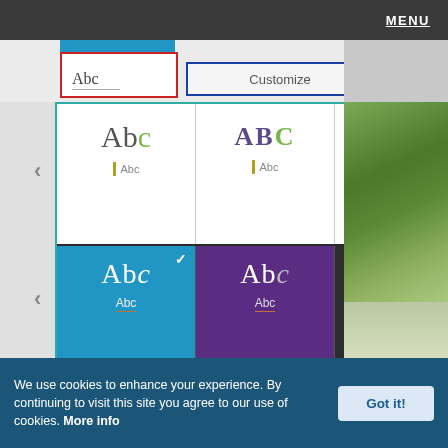MENU
[Figure (screenshot): Screenshot of Microsoft Sway Design pane showing style tiles. Top ribbon has an 'Abc' box with red border and a 'Customize' button with blue border. Below is a design pane with teal border showing 6 style tiles in 2 rows: Row 1 has serif olive/green 'Abc', bold purple/green 'ABC', serif teal 'Abc'. Row 2 has selected blue 'Abc' tile (checkmark), purple 'Abc' tile, dark 'Abc' tile. Right side shows a photo of trees/foliage.]
Figure 2: Design pane
3. Every Sway you create is based on a Design Style. In the
We use cookies to enhance your experience. By continuing to visit this site you agree to our use of cookies. More info